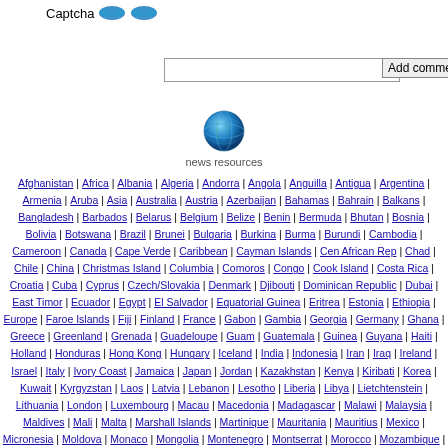[Figure (other): Captcha label with two blue image tokens]
Captcha
[Figure (other): Text input box for captcha]
Add comment
[Figure (other): Globe icon for news resources]
news resources
Afghanistan | Africa | Albania | Algeria | Andorra | Angola | Anguilla | Antigua | Argentina | Armenia | Aruba | Asia | Australia | Austria | Azerbaijan | Bahamas | Bahrain | Balkans | Bangladesh | Barbados | Belarus | Belgium | Belize | Benin | Bermuda | Bhutan | Bosnia | Bolivia | Botswana | Brazil | Brunei | Bulgaria | Burkina | Burma | Burundi | Cambodia | Cameroon | Canada | Cape Verde | Caribbean | Cayman Islands | Cen African Rep | Chad | Chile | China | Christmas Island | Columbia | Comoros | Congo | Cook Island | Costa Rica | Croatia | Cuba | Cyprus | Czech/Slovakia | Denmark | Djibouti | Dominican Republic | Dubai | East Timor | Ecuador | Egypt | El Salvador | Equatorial Guinea | Eritrea | Estonia | Ethiopia | Europe | Faroe Islands | Fiji | Finland | France | Gabon | Gambia | Georgia | Germany | Ghana | Greece | Greenland | Grenada | Guadeloupe | Guam | Guatemala | Guinea | Guyana | Haiti | Holland | Honduras | Hong Kong | Hungary | Iceland | India | Indonesia | Iran | Iraq | Ireland | Israel | Italy | Ivory Coast | Jamaica | Japan | Jordan | Kazakhstan | Kenya | Kiribati | Korea | Kuwait | Kyrgyzstan | Laos | Latvia | Lebanon | Lesotho | Liberia | Libya | Lietchtenstein | Lithuania | London | Luxembourg | Macau | Macedonia | Madagascar | Malawi | Malaysia | Maldives | Mali | Malta | Marshall Islands | Martinique | Mauritania | Mauritius | Mexico | Micronesia | Moldova | Monaco | Mongolia | Montenegro | Montserrat | Morocco | Mozambique |